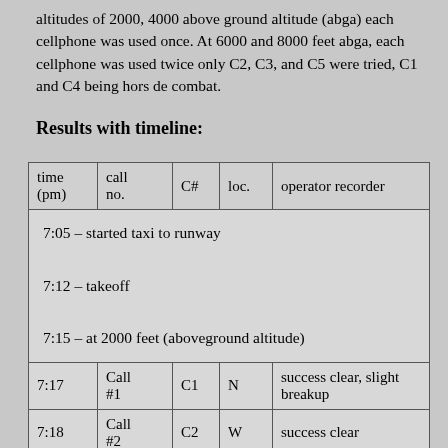altitudes of 2000, 4000 above ground altitude (abga) each cellphone was used once. At 6000 and 8000 feet abga, each cellphone was used twice only C2, C3, and C5 were tried, C1 and C4 being hors de combat.
Results with timeline:
| time (pm) | call no. | C# | loc. | operator recorder |
| --- | --- | --- | --- | --- |
| (timeline) | 7:05 – started taxi to runway
7:12 – takeoff
7:15 – at 2000 feet (aboveground altitude) |  |  |  |
| 7:17 | Call #1 | C1 | N | success clear, slight breakup |
| 7:18 | Call #2 | C2 | W | success clear |
|  | Call |  |  |  |